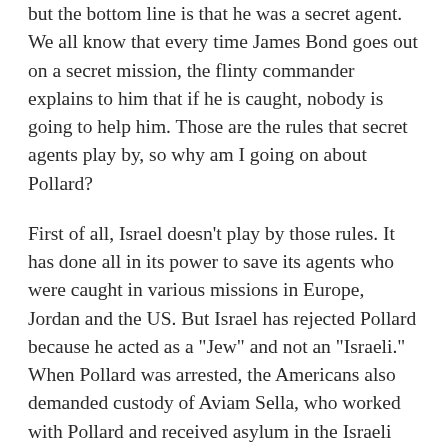but the bottom line is that he was a secret agent. We all know that every time James Bond goes out on a secret mission, the flinty commander explains to him that if he is caught, nobody is going to help him. Those are the rules that secret agents play by, so why am I going on about Pollard?
First of all, Israel doesn't play by those rules. It has done all in its power to save its agents who were caught in various missions in Europe, Jordan and the US. But Israel has rejected Pollard because he acted as a "Jew" and not an "Israeli." When Pollard was arrested, the Americans also demanded custody of Aviam Sella, who worked with Pollard and received asylum in the Israeli embassy. But while Israel refused to relinquish the Israeli (Sella) to American hands, it threw the Jew (Pollard) to the